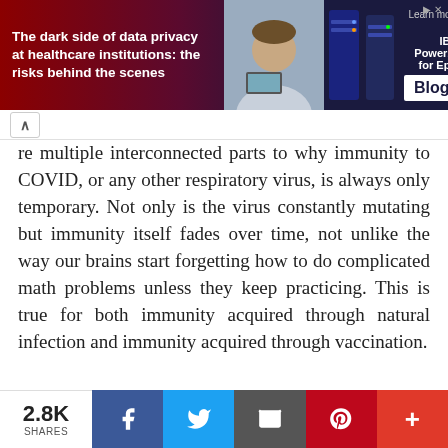[Figure (infographic): IBM advertisement banner: 'The dark side of data privacy at healthcare institutions: the risks behind the scenes' with a person and server image, and 'Learn more at IBM Power10 for Epic Blog' button]
re multiple interconnected parts to why immunity to COVID, or any other respiratory virus, is always only temporary. Not only is the virus constantly mutating but immunity itself fades over time, not unlike the way our brains start forgetting how to do complicated math problems unless they keep practicing. This is true for both immunity acquired through natural infection and immunity acquired through vaccination.
2.8K SHARES  [Facebook] [Twitter] [Email] [Pinterest] [+]